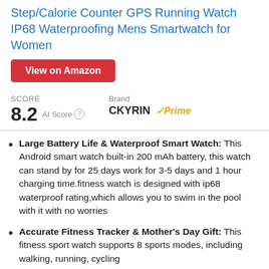Step/Calorie Counter GPS Running Watch IP68 Waterproof Mens Smartwatch for Women
View on Amazon
SCORE
8.2 AI Score
Brand
CKYRIN ✓Prime
Large Battery Life & Waterproof Smart Watch: This Android smart watch built-in 200 mAh battery, this watch can stand by for 25 days work for 3-5 days and 1 hour charging time.fitness watch is designed with ip68 waterproof rating,which allows you to swim in the pool with it with no worries
Accurate Fitness Tracker & Mother's Day Gift: This fitness sport watch supports 8 sports modes, including walking, running, cycling...